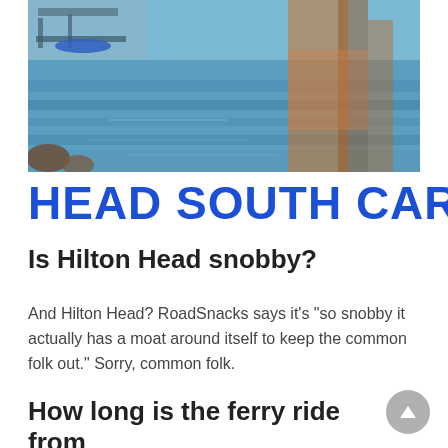[Figure (photo): Water scene with reflections of colorful boats or structures on calm water, with a dock or platform visible at the top left.]
HEAD SOUTH CAROL
Is Hilton Head snobby?
And Hilton Head? RoadSnacks says it’s “so snobby it actually has a moat around itself to keep the common folk out.” Sorry, common folk.
How long is the ferry ride from Hilton Head to Savannah?